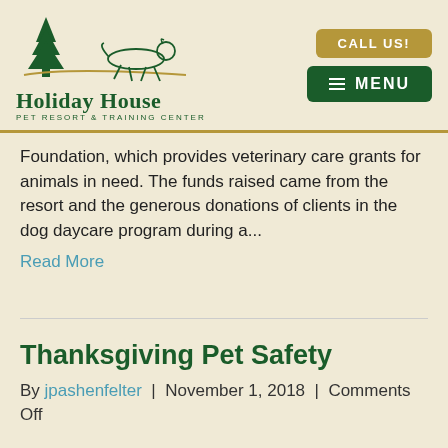[Figure (logo): Holiday House Pet Resort & Training Center logo with green tree and leaping dog illustration]
Foundation, which provides veterinary care grants for animals in need. The funds raised came from the resort and the generous donations of clients in the dog daycare program during a...
Read More
Thanksgiving Pet Safety
By jpashenfelter | November 1, 2018 | Comments Off